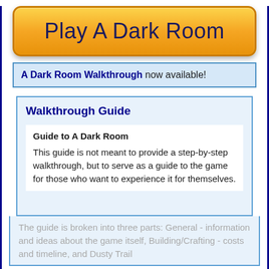Play A Dark Room
A Dark Room Walkthrough now available!
Walkthrough Guide
Guide to A Dark Room
This guide is not meant to provide a step-by-step walkthrough, but to serve as a guide to the game for those who want to experience it for themselves.
The guide is broken into three parts: General - information and ideas about the game itself, Building/Crafting - costs and timeline, and Dusty Trail